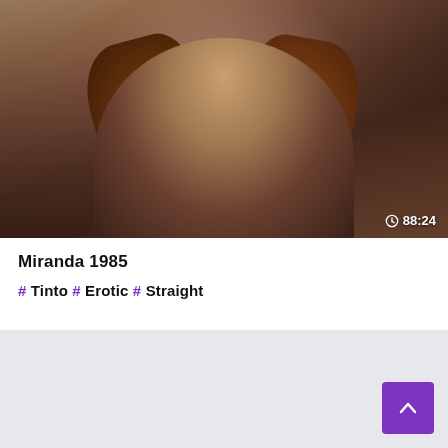[Figure (screenshot): Video thumbnail showing a woman with long curly red/auburn hair looking downward, wearing a floral patterned top. Duration badge shows clock icon and 88:24 in bottom right corner.]
Miranda 1985
# Tinto # Erotic # Straight